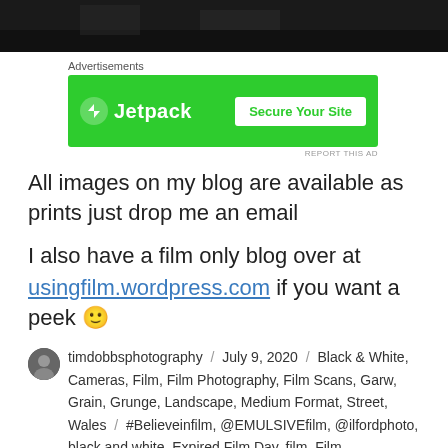[Figure (photo): Dark/black and white photograph cropped at top of page]
Advertisements
[Figure (other): Jetpack advertisement banner - green background with Jetpack logo and 'Secure Your Site' button]
All images on my blog are available as prints just drop me an email
I also have a film only blog over at usingfilm.wordpress.com if you want a peek 🙂
timdobbsphotography / July 9, 2020 / Black & White, Cameras, Film, Film Photography, Film Scans, Garw, Grain, Grunge, Landscape, Medium Format, Street, Wales / #Believeinfilm, @EMULSIVEfilm, @ilfordphoto, black and white, Expired Film Day, film, Film Photography, Film Scans, Filmdev, Filmsnotdead, Garw, ilford XP1, landscape, landscape